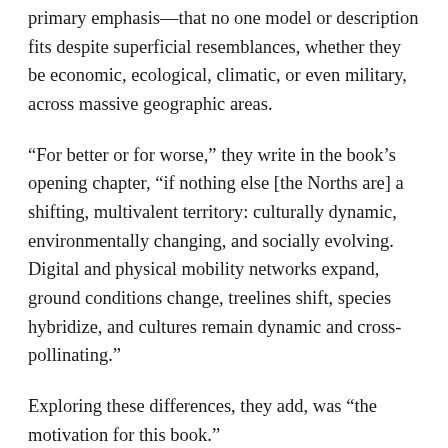primary emphasis—that no one model or description fits despite superficial resemblances, whether they be economic, ecological, climatic, or even military, across massive geographic areas.
“For better or for worse,” they write in the book’s opening chapter, “if nothing else [the Norths are] a shifting, multivalent territory: culturally dynamic, environmentally changing, and socially evolving. Digital and physical mobility networks expand, ground conditions change, treelines shift, species hybridize, and cultures remain dynamic and cross-pollinating.”
Exploring these differences, they add, was “the motivation for this book.”